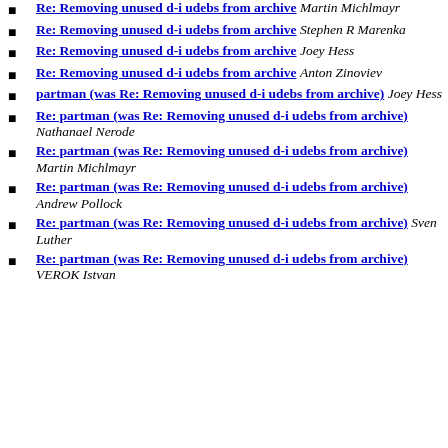Re: Removing unused d-i udebs from archive Martin Michlmayr
Re: Removing unused d-i udebs from archive Stephen R Marenka
Re: Removing unused d-i udebs from archive Joey Hess
Re: Removing unused d-i udebs from archive Anton Zinoviev
partman (was Re: Removing unused d-i udebs from archive) Joey Hess
Re: partman (was Re: Removing unused d-i udebs from archive) Nathanael Nerode
Re: partman (was Re: Removing unused d-i udebs from archive) Martin Michlmayr
Re: partman (was Re: Removing unused d-i udebs from archive) Andrew Pollock
Re: partman (was Re: Removing unused d-i udebs from archive) Sven Luther
Re: partman (was Re: Removing unused d-i udebs from archive) VEROK Istvan